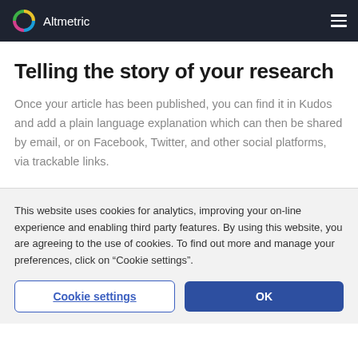Altmetric
Telling the story of your research
Once your article has been published, you can find it in Kudos and add a plain language explanation which can then be shared by email, or on Facebook, Twitter, and other social platforms, via trackable links.
This website uses cookies for analytics, improving your on-line experience and enabling third party features. By using this website, you are agreeing to the use of cookies. To find out more and manage your preferences, click on "Cookie settings".
Cookie settings
OK